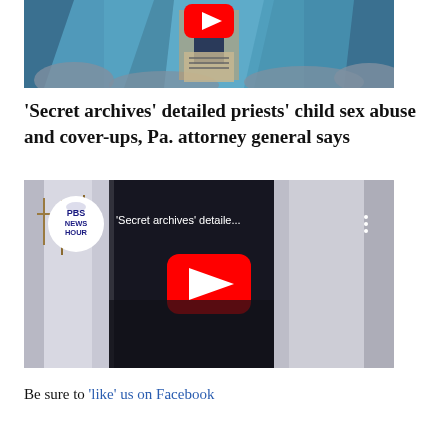[Figure (screenshot): Top portion of an illustration showing a stained glass style image with a figure and a YouTube play button overlay at the top]
‘Secret archives’ detailed priests’ child sex abuse and cover-ups, Pa. attorney general says
[Figure (screenshot): PBS NewsHour YouTube video thumbnail showing priests in white robes with cross necklaces, with a red YouTube play button in the center. Title reads '‘Secret archives’ detaile...']
Be sure to ‘like’ us on Facebook